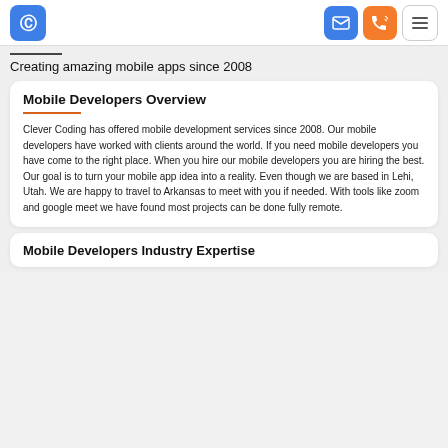Clever Coding logo, email icon, phone icon, menu icon
Creating amazing mobile apps since 2008
Mobile Developers Overview
Clever Coding has offered mobile development services since 2008. Our mobile developers have worked with clients around the world. If you need mobile developers you have come to the right place. When you hire our mobile developers you are hiring the best. Our goal is to turn your mobile app idea into a reality. Even though we are based in Lehi, Utah. We are happy to travel to Arkansas to meet with you if needed. With tools like zoom and google meet we have found most projects can be done fully remote.
Mobile Developers Industry Expertise